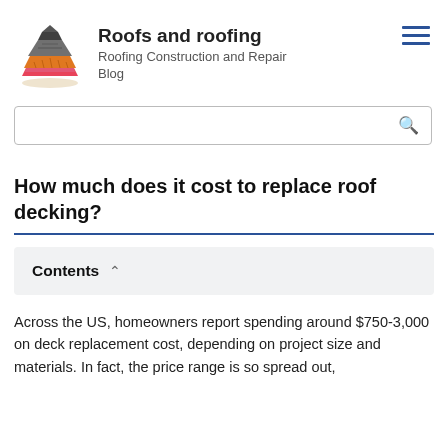Roofs and roofing
Roofing Construction and Repair Blog
[Figure (logo): Stylized illustration of a house roof cross-section showing layered roofing materials in grey, orange/wood, pink, and red colors.]
How much does it cost to replace roof decking?
Contents
Across the US, homeowners report spending around $750-3,000 on deck replacement cost, depending on project size and materials. In fact, the price range is so spread out,